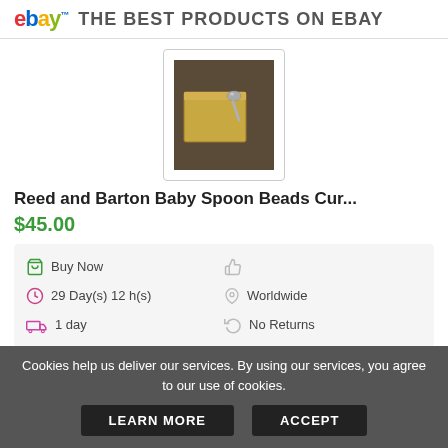ebay THE BEST PRODUCTS ON EBAY
[Figure (photo): Photo of a Reed and Barton baby spoon with beads on a tan/gold box]
Reed and Barton Baby Spoon Beads Cur...
$45.00
Buy Now | 29 Day(s) 12 h(s) | 1 day | (thumbs up) | Worldwide | No Returns
Cookies help us deliver our services. By using our services, you agree to our use of cookies.
LEARN MORE   ACCEPT